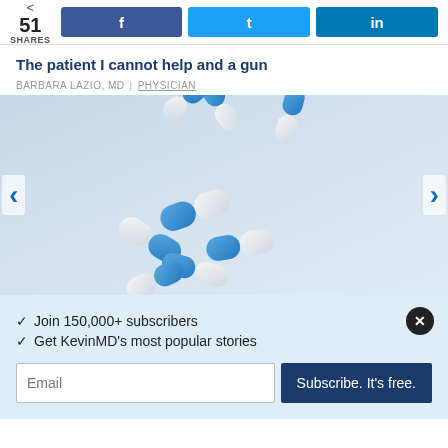51 SHARES  |  Facebook  Twitter  LinkedIn
The patient I cannot help and a gun
BARBARA LAZIO, MD | PHYSICIAN
[Figure (photo): Blue and white capsule pills scattered on a light blue/grey background]
✓ Join 150,000+ subscribers
✓ Get KevinMD's most popular stories
Email  Subscribe. It's free.